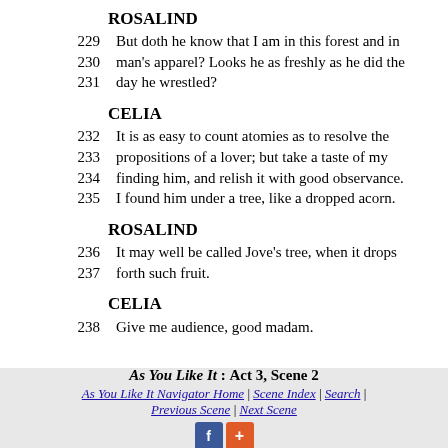ROSALIND
229  But doth he know that I am in this forest and in
230  man's apparel? Looks he as freshly as he did the
231  day he wrestled?
CELIA
232  It is as easy to count atomies as to resolve the
233  propositions of a lover; but take a taste of my
234  finding him, and relish it with good observance.
235  I found him under a tree, like a dropped acorn.
ROSALIND
236  It may well be called Jove's tree, when it drops
237  forth such fruit.
CELIA
238  Give me audience, good madam.
As You Like It : Act 3, Scene 2 | As You Like It Navigator Home | Scene Index | Search | Previous Scene | Next Scene